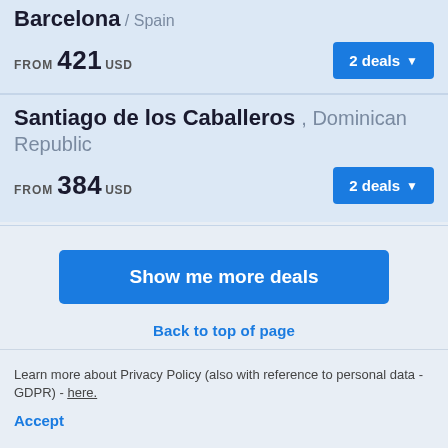Barcelona / Spain
FROM 421 USD
2 deals
Santiago de los Caballeros , Dominican Republic
FROM 384 USD
2 deals
Show me more deals
Back to top of page
Learn more about Privacy Policy (also with reference to personal data - GDPR) - here.
Accept